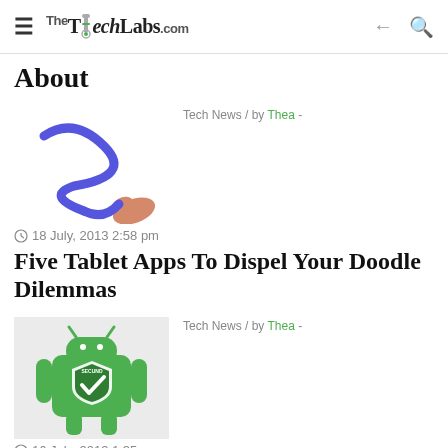TheTechLabs.com
About
Tech News / by Thea -
[Figure (photo): Hand drawing a blue zigzag doodle on white background]
18 July, 2013 2:58 pm
Five Tablet Apps To Dispel Your Doodle Dilemmas
Tech News / by Thea -
[Figure (illustration): Green Android robot security shield icon with checkmark and SECUND label]
16 July, 2013 1:35 pm
Is your Android Device